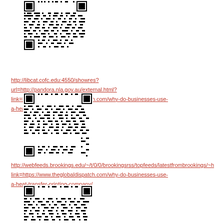[Figure (other): QR code image linking to a URL about heat-transfer printing company (first QR code, partially cropped at top)]
http://libcat.cofc.edu:4550/showres?url=http://pandora.nla.gov.au/external.html?link=https://www.theglobaldispatch.com/why-do-businesses-use-a-heat-transfer-printing-company/
[Figure (other): QR code image linking to a URL about heat-transfer printing company (second QR code)]
http://webfeeds.brookings.edu/~/t/0/0/brookingsrss/topfeeds/latestfrombrookings/~h link=https://www.theglobaldispatch.com/why-do-businesses-use-a-heat-transfer-printing-company/
[Figure (other): QR code image linking to a URL about heat-transfer printing company (third QR code, partially cropped at bottom)]